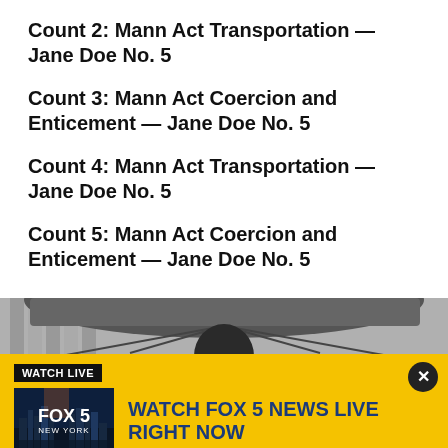Count 2: Mann Act Transportation — Jane Doe No. 5
Count 3: Mann Act Coercion and Enticement — Jane Doe No. 5
Count 4: Mann Act Transportation — Jane Doe No. 5
Count 5: Mann Act Coercion and Enticement — Jane Doe No. 5
[Figure (photo): Photo of a man under an umbrella outdoors, partially visible, cropped at torso level]
WATCH LIVE
[Figure (screenshot): FOX 5 New York thumbnail image showing city skyline at night]
WATCH FOX 5 NEWS LIVE RIGHT NOW